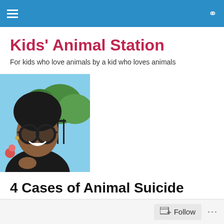Kids' Animal Station — navigation header
Kids' Animal Station
For kids who love animals by a kid who loves animals
[Figure (photo): Selfie photo of a young woman with natural hair and round sunglasses, smiling outdoors near trees and a gate.]
4 Cases of Animal Suicide
Follow